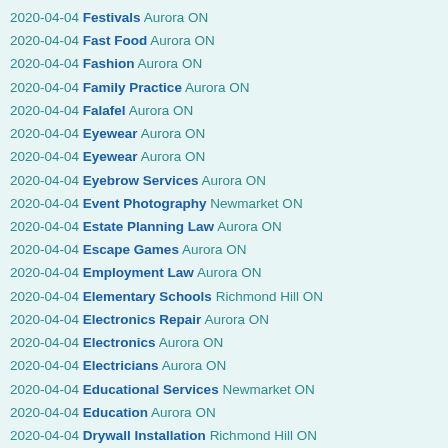2020-04-04 Festivals Aurora ON
2020-04-04 Fast Food Aurora ON
2020-04-04 Fashion Aurora ON
2020-04-04 Family Practice Aurora ON
2020-04-04 Falafel Aurora ON
2020-04-04 Eyewear Aurora ON
2020-04-04 Eyewear Aurora ON
2020-04-04 Eyebrow Services Aurora ON
2020-04-04 Event Photography Newmarket ON
2020-04-04 Estate Planning Law Aurora ON
2020-04-04 Escape Games Aurora ON
2020-04-04 Employment Law Aurora ON
2020-04-04 Elementary Schools Richmond Hill ON
2020-04-04 Electronics Repair Aurora ON
2020-04-04 Electronics Aurora ON
2020-04-04 Electricians Aurora ON
2020-04-04 Educational Services Newmarket ON
2020-04-04 Education Aurora ON
2020-04-04 Drywall Installation Richmond Hill ON
2020-04-04 Dry Cleaning Aurora ON
2020-04-04 Drugstores Aurora ON
2020-04-04 Driving Schools Richmond Hill ON
2020-04-04 Donuts Newmarket ON